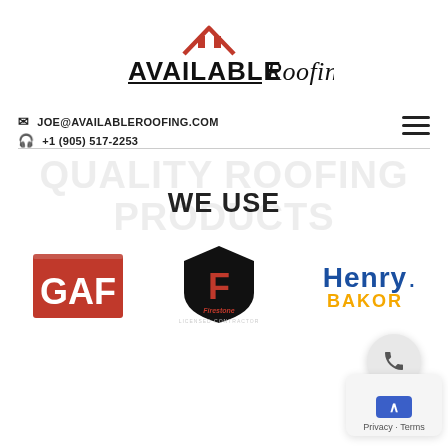[Figure (logo): Available Roofing logo with red roof icon above stylized text 'AVAILABLE Roofing']
JOE@AVAILABLEROOFING.COM
+1 (905) 517-2253
QUALITY ROOFING PRODUCTS WE USE
[Figure (logo): GAF logo - red square with white GAF text]
[Figure (logo): Firestone Licensed Contractor logo - black shield with red F, Firestone text below]
[Figure (logo): Henry. BAKOR logo - blue Henry text and yellow BAKOR text]
Privacy · Terms